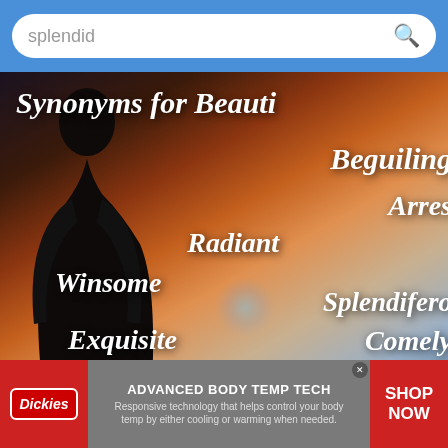splendid [search bar]
[Figure (illustration): Image showing synonyms for beautiful overlaid on a sunset landscape with a person silhouette. Words shown: Synonyms for Beauti[ful], Beguiling, Arres[ting], Radiant, Winsome, Splendifero[us], Exquisite, Comely]
Breaking Down Beautiful: Synonyms and
[Figure (infographic): Advertisement banner for Dickies brand showing ADVANCED BODY TEMP TECH with text: Responsive technology that helps control your body temp by either cooling or warming when needed. SHOP NOW button on right.]